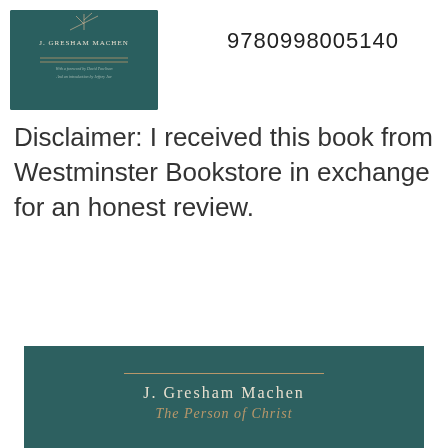[Figure (illustration): Book cover thumbnail showing a teal/dark green background with J. Gresham Machen title text and decorative elements including a tree branch, with foreword by David Powlison and introduction by Jeffrey Jue]
9780998005140
Disclaimer: I received this book from Westminster Bookstore in exchange for an honest review.
[Figure (illustration): Book cover showing teal/dark green background with a horizontal gold/tan decorative line, text reading J. Gresham Machen and The Person of Christ in italic gold lettering]